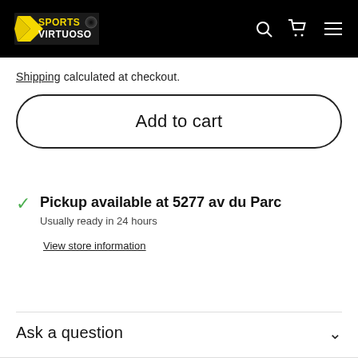Sports Virtuoso — navigation header with logo, search, cart, and menu icons
Shipping calculated at checkout.
Add to cart
Pickup available at 5277 av du Parc
Usually ready in 24 hours
View store information
Ask a question